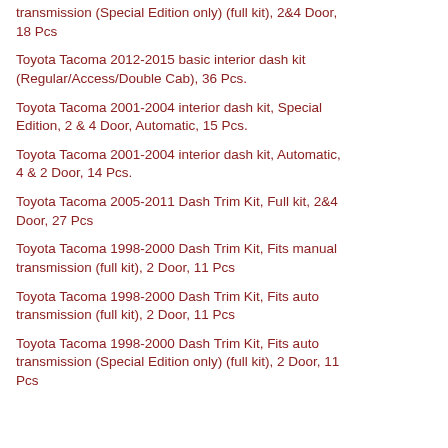transmission (Special Edition only) (full kit), 2&4 Door, 18 Pcs
Toyota Tacoma 2012-2015 basic interior dash kit (Regular/Access/Double Cab), 36 Pcs.
Toyota Tacoma 2001-2004 interior dash kit, Special Edition, 2 & 4 Door, Automatic, 15 Pcs.
Toyota Tacoma 2001-2004 interior dash kit, Automatic, 4 & 2 Door, 14 Pcs.
Toyota Tacoma 2005-2011 Dash Trim Kit, Full kit, 2&4 Door, 27 Pcs
Toyota Tacoma 1998-2000 Dash Trim Kit, Fits manual transmission (full kit), 2 Door, 11 Pcs
Toyota Tacoma 1998-2000 Dash Trim Kit, Fits auto transmission (full kit), 2 Door, 11 Pcs
Toyota Tacoma 1998-2000 Dash Trim Kit, Fits auto transmission (Special Edition only) (full kit), 2 Door, 11 Pcs